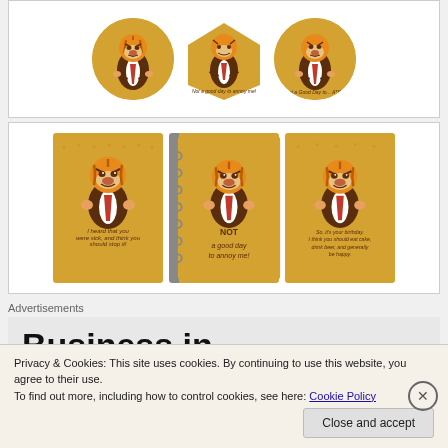[Figure (illustration): Three circular badge products featuring an angry tiger character in a suit with red tie. Each has text overlays.]
[Figure (illustration): Three square notebook/card products featuring the same angry tiger character in a suit with red tie. Left card: 'I heard that you were sick, and think you should stop it!', Middle notebook: 'NOT a good day to annoy me!', Right card: birthday message.]
Advertisements
[Figure (screenshot): Advertisement showing large bold text 'Business in the front' on a grey background]
Privacy & Cookies: This site uses cookies. By continuing to use this website, you agree to their use.
To find out more, including how to control cookies, see here: Cookie Policy